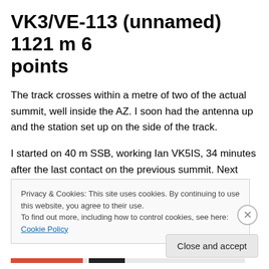VK3/VE-113 (unnamed) 1121 m 6 points
The track crosses within a metre of two of the actual summit, well inside the AZ. I soon had the antenna up and the station set up on the side of the track.
I started on 40 m SSB, working Ian VK5IS, 34 minutes after the last contact on the previous summit. Next was
Privacy & Cookies: This site uses cookies. By continuing to use this website, you agree to their use.
To find out more, including how to control cookies, see here: Cookie Policy